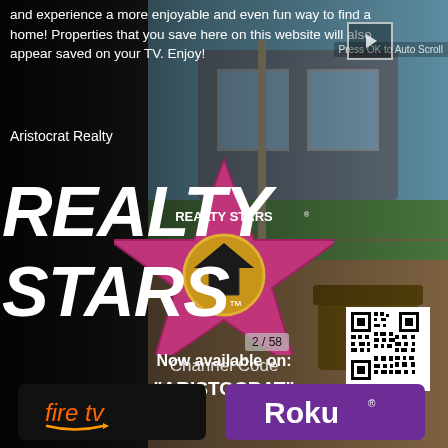and experience a more enjoyable and even fun way to find a home! Properties that you save here on this website will also appear saved on your TV. Enjoy!
Aristocrat Realty
[Figure (logo): Realty Stars logo: a large pink/magenta five-pointed star with 'REALTY STARS' text and a house icon inside a gold circle in the center]
Channel Code
"ARISTOCRAT"
REALTY STARS™
2 / 58
Now available on:
[Figure (logo): QR code for scanning]
[Figure (logo): Amazon Fire TV button logo — black background with orange 'fire tv' text and Amazon arrow]
[Figure (logo): Roku button logo — purple background with white 'Roku' text and trademark symbol]